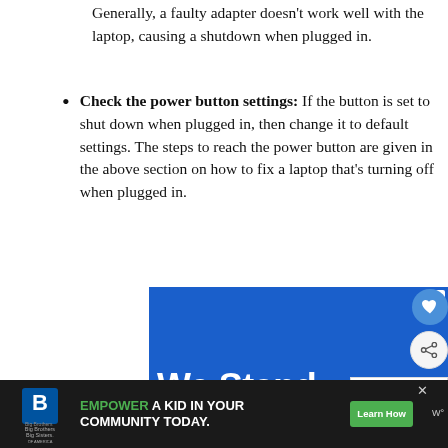Generally, a faulty adapter doesn't work well with the laptop, causing a shutdown when plugged in.
Check the power button settings: If the button is set to shut down when plugged in, then change it to default settings. The steps to reach the power button are given in the above section on how to fix a laptop that's turning off when plugged in.
[Figure (screenshot): Advertisement banner with blue background showing 'We Stand' text in white large font and yellow band below with partially visible text. Overlaid are UI elements: a heart (save) button and share button on the right, a 'WHAT'S NEXT' sidebar with laptop image and 'Why Your Laptop Won'...' text, and a close X button on the ad.]
[Figure (screenshot): Bottom advertisement bar on dark background: Big Brothers Big Sisters logo on left, green 'EMPOWER' text followed by 'A KID IN YOUR COMMUNITY TODAY.' and a green 'Learn How' button. Close X on right side and weather.com logo.]